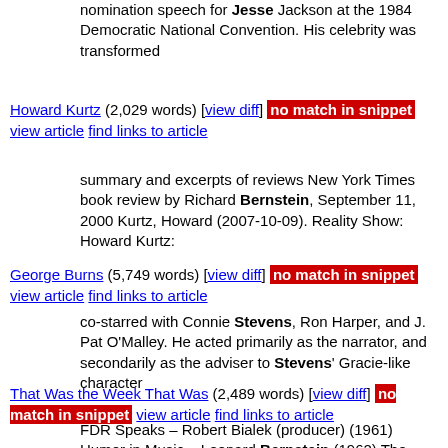nomination speech for Jesse Jackson at the 1984 Democratic National Convention. His celebrity was transformed
Howard Kurtz (2,029 words) [view diff] no match in snippet view article find links to article
summary and excerpts of reviews New York Times book review by Richard Bernstein, September 11, 2000 Kurtz, Howard (2007-10-09). Reality Show: Howard Kurtz:
George Burns (5,749 words) [view diff] no match in snippet view article find links to article
co-starred with Connie Stevens, Ron Harper, and J. Pat O'Malley. He acted primarily as the narrator, and secondarily as the adviser to Stevens' Gracie-like character
That Was the Week That Was (2,489 words) [view diff] no match in snippet view article find links to article
FDR Speaks – Robert Bialek (producer) (1961) Humor in Music – Leonard Bernstein (1962) The Story-Teller: A Session with Charles Laughton –